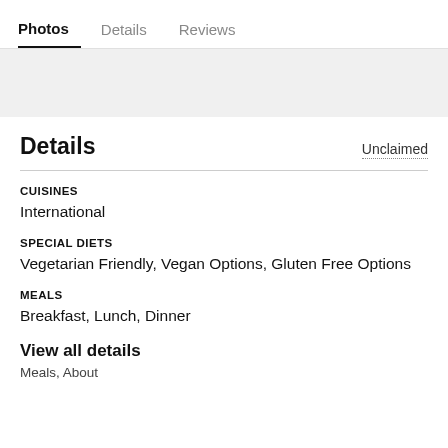Photos  Details  Reviews
Details
Unclaimed
CUISINES
International
SPECIAL DIETS
Vegetarian Friendly, Vegan Options, Gluten Free Options
MEALS
Breakfast, Lunch, Dinner
View all details
Meals, About